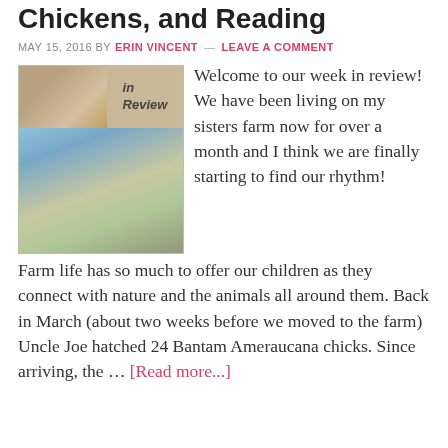Chickens, and Reading
MAY 15, 2016 BY ERIN VINCENT — LEAVE A COMMENT
[Figure (photo): A composite blog image showing a child holding a chicken (top left photo) with 'in Review' text, and a young blond boy photographing a chicken (bottom photo), on a green background.]
Welcome to our week in review! We have been living on my sisters farm now for over a month and I think we are finally starting to find our rhythm! Farm life has so much to offer our children as they connect with nature and the animals all around them. Back in March (about two weeks before we moved to the farm) Uncle Joe hatched 24 Bantam Ameraucana chicks. Since arriving, the … [Read more...]